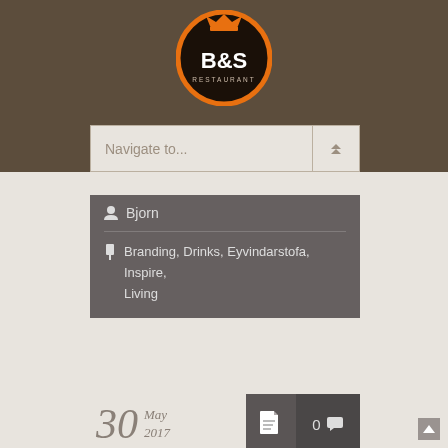[Figure (logo): B&S Restaurant circular logo with crown, orange ring border on dark background]
Navigate to...
Bjorn
Branding, Drinks, Eyvindarstofa, Inspire, Living
30 May 2017
0
[Figure (photo): Geothermal pool with turquoise water and rocky mineral formations, coastal landscape]